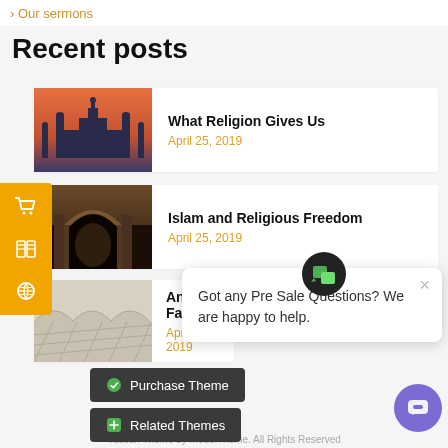Our sermons
Recent posts
What Religion Gives Us — April 25, 2019
Islam and Religious Freedom — April 25, 2019
An Art of Fait — April 25, 2019
Purchase Theme
Related Themes
Got any Pre Sale Questions? We are happy to help.
Vatican Theme by ModelTheme. All Rights Reserved